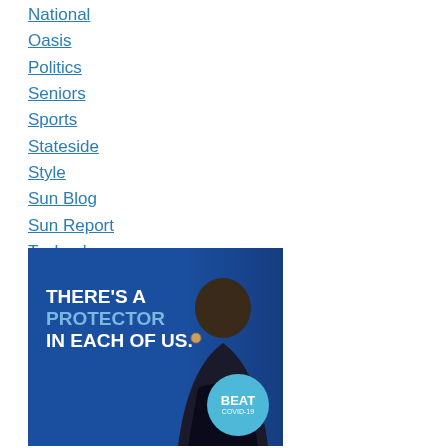National
Oasis
Politics
Seniors
Sports
Stateside
Style
Sun Blog
Sun Report
Technology
Travel
Week In Review
[Figure (photo): Advertisement banner with dark blue background showing a smiling Black woman and text 'THERE'S A PROTECTOR IN EACH OF US.' with a 'BEAT COVID-19' circular badge in the bottom right corner.]